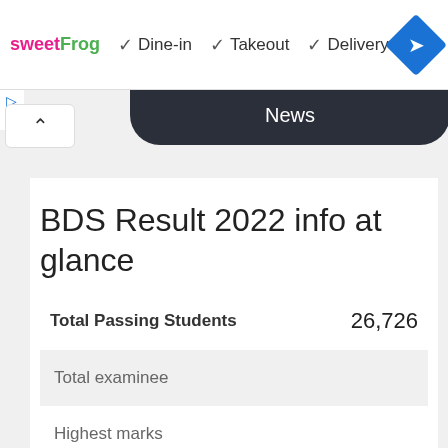[Figure (screenshot): Ad banner with sweetFrog logo, Dine-in, Takeout, Delivery checkmarks, and navigation diamond icon]
News
BDS Result 2022 info at glance
|  |  |
| --- | --- |
| Total Passing Students | 26,726 |
| Total examinee |  |
| Highest marks |  |
| Lowest marks |  |